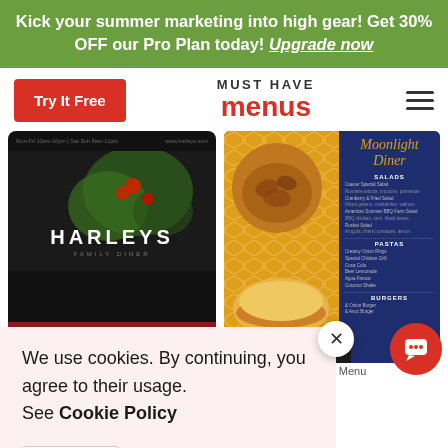Kick your summer marketing into high gear! Get 30% OFF our Pro Plan today! Upgrade now
Try It Free
MUST HAVE menus
[Figure (photo): Harleys Family Diner dark-themed menu card with botanical imagery and red bar at bottom]
[Figure (photo): Moonlight Diner patterned cafe menu in navy blue and yellow with food photography and menu text]
We use cookies. By continuing, you agree to their usage. See Cookie Policy
Agree
Patterned Cafe Menu